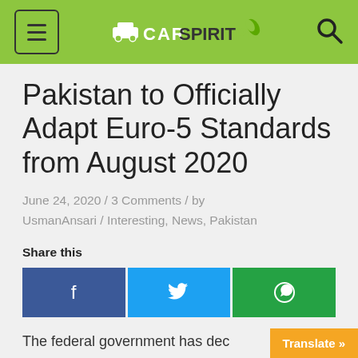CarSpiritPK
Pakistan to Officially Adapt Euro-5 Standards from August 2020
June 24, 2020 / 3 Comments / by UsmanAnsari / Interesting, News, Pakistan
Share this
The federal government has dec…